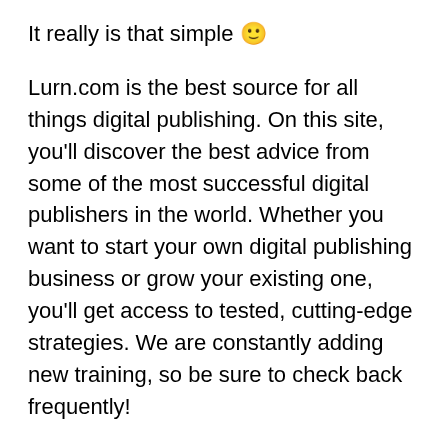It really is that simple 🙂
Lurn.com is the best source for all things digital publishing. On this site, you'll discover the best advice from some of the most successful digital publishers in the world. Whether you want to start your own digital publishing business or grow your existing one, you'll get access to tested, cutting-edge strategies. We are constantly adding new training, so be sure to check back frequently!
Disclaimer: To submit your feedback and be entered into our prize drawing, we will need your name and email.
We will ONLY use your information to contact you